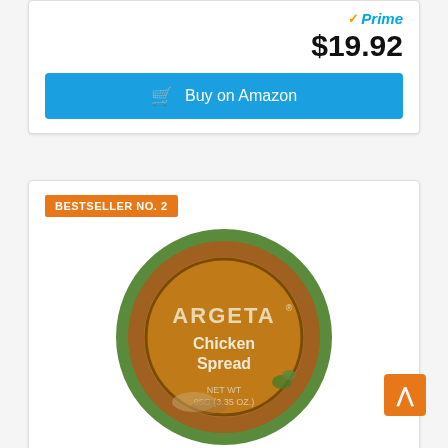[Figure (logo): Amazon Prime badge with checkmark and 'Prime' text in blue italic]
$19.92
Buy on Amazon
BESTSELLER NO. 2
[Figure (photo): Argeta Chicken Spread can, circular tin with gold/brown interior, green rim, showing brand name ARGETA, product name Chicken Spread, NET WT 95G (3.35 OZ.)]
Argeta Pate Spread, Chicken, 3.35oz